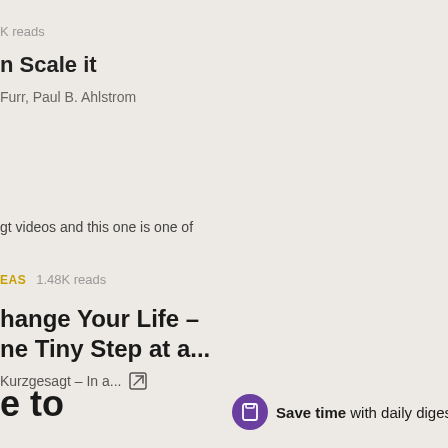K reads
n Scale it
Furr, Paul B. Ahlstrom
gt videos and this one is one of
EAS   1.48K reads
hange Your Life – ne Tiny Step at a...
Kurzgesagt – In a...
e to
Save time with daily diges